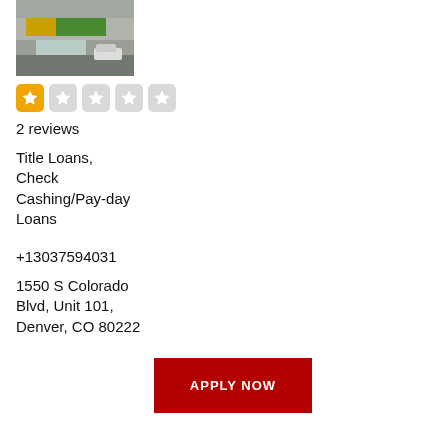[Figure (photo): Street-level photo of a store front with signage, parking lot visible]
[Figure (other): 1-star rating out of 5 stars (one filled orange star, four empty grey stars)]
2 reviews
Title Loans, Check Cashing/Pay-day Loans
+13037594031
1550 S Colorado Blvd, Unit 101, Denver, CO 80222
APPLY NOW